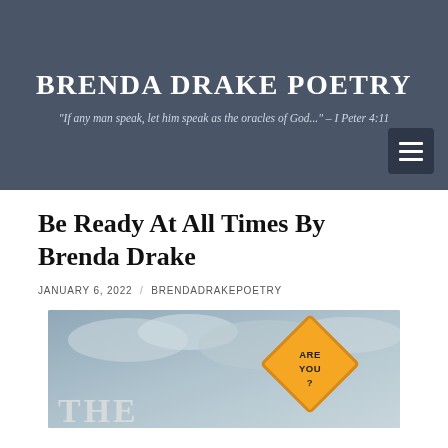BRENDA DRAKE POETRY
"If any man speak, let him speak as the oracles of God..." – I Peter 4:11
Be Ready At All Times By Brenda Drake
JANUARY 6, 2022 / BRENDADRAKEPOETRY
[Figure (photo): A photo showing a yellow diamond-shaped road sign reading 'ARE YOU READY?' against a cloudy grey sky, with large bold text 'THE' visible on the left side of the image.]